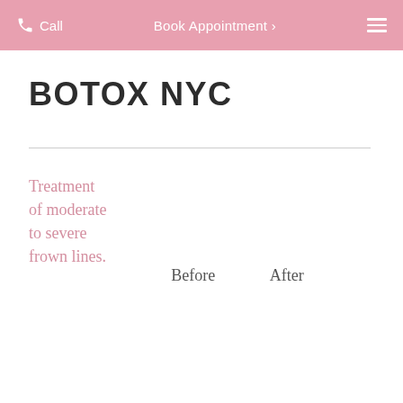Call  Book Appointment ›  ≡
BOTOX NYC
Treatment of moderate to severe frown lines.
Before   After